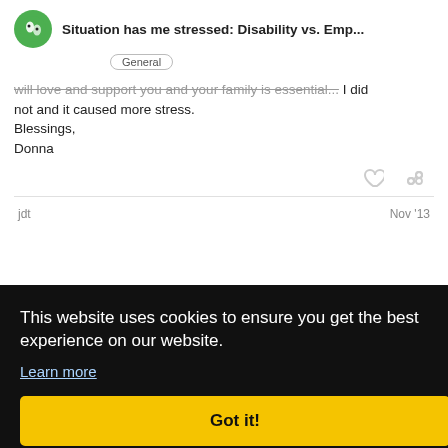Situation has me stressed: Disability vs. Emp...
General
will love and support you and your family is essential... I did not and it caused more stress.
Blessings,
Donna
jdt
Nov '13
[Figure (screenshot): Cookie consent overlay with black background reading 'This website uses cookies to ensure you get the best experience on our website.' with a Learn more link and a yellow Got it! button]
with my employer and my direct supervis